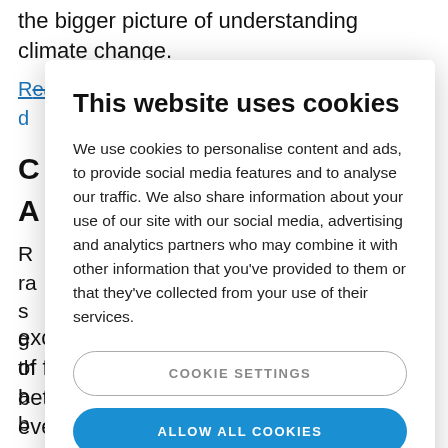the bigger picture of understanding climate change.
Read more about greenhouse gas measurements in d...
C A
R
ra
s
g
th
a
b
p
"
exchange in trees, there definitely is a lot of fluctuation between different vegetation zones and even between forest
This website uses cookies

We use cookies to personalise content and ads, to provide social media features and to analyse our traffic. We also share information about your use of our site with our social media, advertising and analytics partners who may combine it with other information that you've provided to them or that they've collected from your use of their services.

COOKIE SETTINGS

ALLOW ALL COOKIES